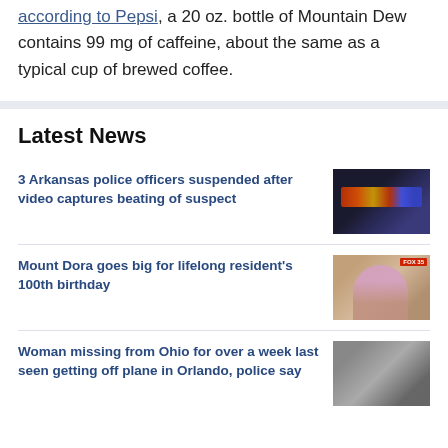according to Pepsi, a 20 oz. bottle of Mountain Dew contains 99 mg of caffeine, about the same as a typical cup of brewed coffee.
Latest News
3 Arkansas police officers suspended after video captures beating of suspect
[Figure (photo): Police lights at night scene]
Mount Dora goes big for lifelong resident's 100th birthday
[Figure (photo): Elderly woman celebrating birthday, FOX 35 news thumbnail]
Woman missing from Ohio for over a week last seen getting off plane in Orlando, police say
[Figure (photo): Woman's photo, news thumbnail]